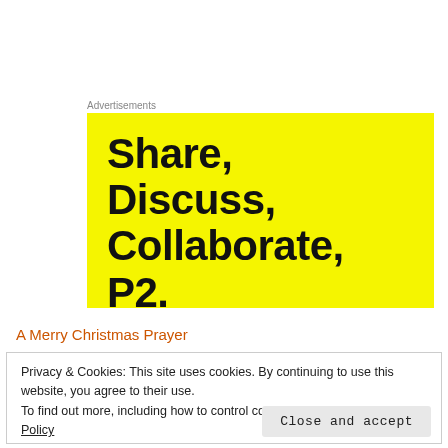Advertisements
[Figure (illustration): Yellow advertisement banner with bold black text reading: Share, Discuss, Collaborate, P2.]
A Merry Christmas Prayer
Privacy & Cookies: This site uses cookies. By continuing to use this website, you agree to their use.
To find out more, including how to control cookies, see here: Cookie Policy
Close and accept